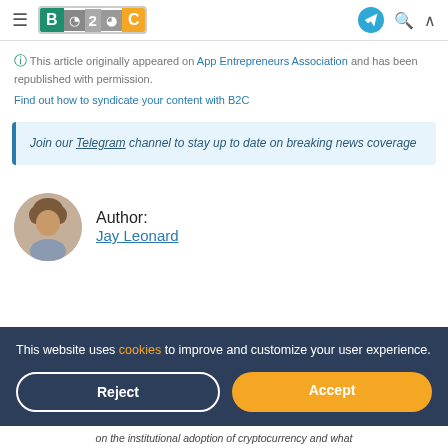B2C — Business 2 Community header navigation
This article originally appeared on App Entrepreneurs Association and has been republished with permission.
Find out how to syndicate your content with B2C
Join our Telegram channel to stay up to date on breaking news coverage
Author: Jay Leonard
This website uses cookies to improve and customize your user experience.
on the institutional adoption of cryptocurrency and what